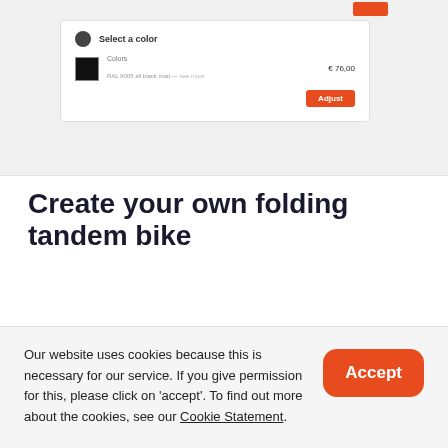[Figure (screenshot): Screenshot of a bike configurator UI card showing 'Select a color' option with a black color swatch labeled 'Colors', a price of € 76,00, and an orange 'Adjust' button]
Create your own folding tandem bike
In the configurator you can see which options are available for each bike, including which bike is available in a detachable version. Here you can then configure your own individual bike. Do you want to know what is
Our website uses cookies because this is necessary for our service. If you give permission for this, please click on 'accept'. To find out more about the cookies, see our Cookie Statement.